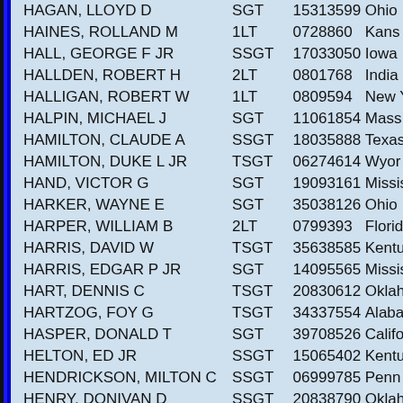| Name | Rank | ID | State |
| --- | --- | --- | --- |
| HAGAN, LLOYD D | SGT | 15313599 | Ohio |
| HAINES, ROLLAND M | 1LT | 0728860 | Kansas |
| HALL, GEORGE F JR | SSGT | 17033050 | Iowa |
| HALLDEN, ROBERT H | 2LT | 0801768 | Indiana |
| HALLIGAN, ROBERT W | 1LT | 0809594 | New Y |
| HALPIN, MICHAEL J | SGT | 11061854 | Mass |
| HAMILTON, CLAUDE A | SSGT | 18035888 | Texas |
| HAMILTON, DUKE L JR | TSGT | 06274614 | Wyom |
| HAND, VICTOR G | SGT | 19093161 | Missis |
| HARKER, WAYNE E | SGT | 35038126 | Ohio |
| HARPER, WILLIAM B | 2LT | 0799393 | Florid |
| HARRIS, DAVID W | TSGT | 35638585 | Kentu |
| HARRIS, EDGAR P JR | SGT | 14095565 | Missis |
| HART, DENNIS C | TSGT | 20830612 | Oklah |
| HARTZOG, FOY G | TSGT | 34337554 | Alaba |
| HASPER, DONALD T | SGT | 39708526 | Califo |
| HELTON, ED JR | SSGT | 15065402 | Kentu |
| HENDRICKSON, MILTON C | SSGT | 06999785 | Penn |
| HENRY, DONIVAN D | SSGT | 20838790 | Oklah |
| HERBERT, JOSEPH M | TSGT | 32098944 | New Y |
| HERRICK, MAURICE R | 2LT | 02069017 | Michi |
| HIGH, HOWARD A | SGT | 39180233 | Wash |